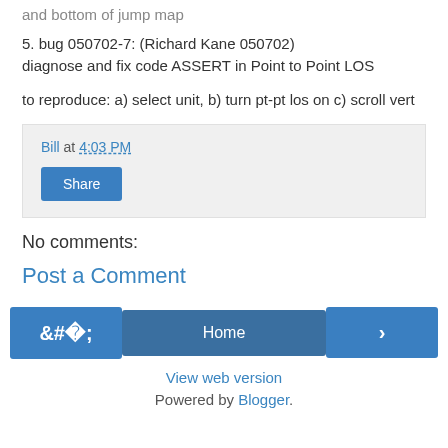and bottom of jump map
5. bug 050702-7: (Richard Kane 050702)
diagnose and fix code ASSERT in Point to Point LOS
to reproduce: a) select unit, b) turn pt-pt los on c) scroll vert
Bill at 4:03 PM
Share
No comments:
Post a Comment
‹  Home  ›
View web version
Powered by Blogger.